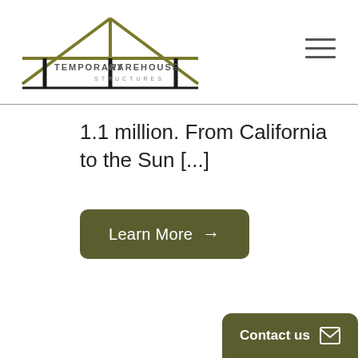[Figure (logo): Temporary Warehouse Structures logo — line drawing of a warehouse/tent structure with olive-green roof lines and black vertical posts, with company name text below the roof graphic]
1.1 million. From California to the Sun [...]
Learn More →
Contact us